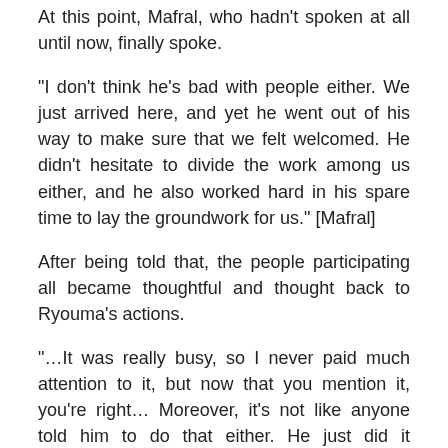At this point, Mafral, who hadn't spoken at all until now, finally spoke.
“I don't think he's bad with people either. We just arrived here, and yet he went out of his way to make sure that we felt welcomed. He didn't hesitate to divide the work among us either, and he also worked hard in his spare time to lay the groundwork for us.” [Mafral]
After being told that, the people participating all became thoughtful and thought back to Ryouma’s actions.
“…It was really busy, so I never paid much attention to it, but now that you mention it, you’re right… Moreover, it’s not like anyone told him to do that either. He just did it naturally on his own.” [Riviola]
“Yes… Ryouma definitely isn’t bad with people.” [Hyuzu]